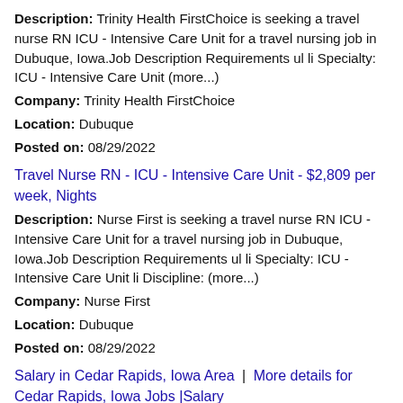Description: Trinity Health FirstChoice is seeking a travel nurse RN ICU - Intensive Care Unit for a travel nursing job in Dubuque, Iowa.Job Description Requirements ul li Specialty: ICU - Intensive Care Unit (more...)
Company: Trinity Health FirstChoice
Location: Dubuque
Posted on: 08/29/2022
Travel Nurse RN - ICU - Intensive Care Unit - $2,809 per week, Nights
Description: Nurse First is seeking a travel nurse RN ICU - Intensive Care Unit for a travel nursing job in Dubuque, Iowa.Job Description Requirements ul li Specialty: ICU - Intensive Care Unit li Discipline: (more...)
Company: Nurse First
Location: Dubuque
Posted on: 08/29/2022
Salary in Cedar Rapids, Iowa Area | More details for Cedar Rapids, Iowa Jobs |Salary
RN - ICU
Description: At National Staffing Solutions, we have the privilege and honor of working with dedicated healthcare professionals that